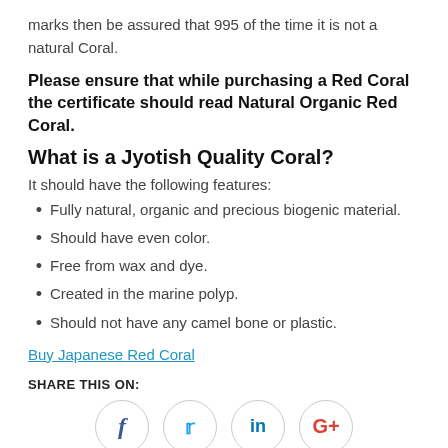marks then be assured that 995 of the time it is not a natural Coral.
Please ensure that while purchasing a Red Coral the certificate should read Natural Organic Red Coral.
What is a Jyotish Quality Coral?
It should have the following features:
Fully natural, organic and precious biogenic material.
Should have even color.
Free from wax and dye.
Created in the marine polyp.
Should not have any camel bone or plastic.
Buy Japanese Red Coral
SHARE THIS ON:
[Figure (infographic): Social media share icons: Facebook, Twitter, LinkedIn, Google+]